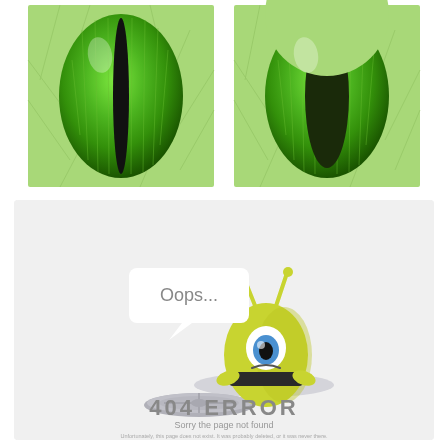[Figure (illustration): Two green reptilian/cat eyes side by side on a light green scaly background. Left eye is fully open showing a vertical black slit pupil. Right eye is partially closed showing a dark oval/slit pupil.]
[Figure (illustration): 404 error page illustration on light gray background. A sad yellow one-eyed alien monster character with antennae emerging from a manhole, with a speech bubble saying 'Oops...' The manhole cover lies nearby. Text reads '404 ERROR', 'Sorry the page not found', 'Unfortunately, this page does not exist. It was probably deleted, or it was never there.', 'Please go to the main page, or use the site map.']